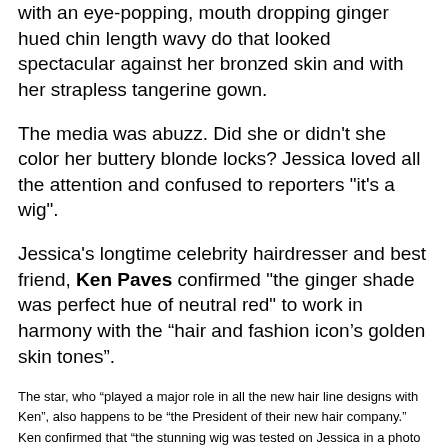with an eye-popping, mouth dropping ginger hued chin length wavy do that looked spectacular against her bronzed skin and with her strapless tangerine gown.
The media was abuzz. Did she or didn't she color her buttery blonde locks? Jessica loved all the attention and confused to reporters "it's a wig".
Jessica's longtime celebrity hairdresser and best friend, Ken Paves confirmed "the ginger shade was perfect hue of neutral red" to work in harmony with the “hair and fashion icon’s golden skin tones”.
The star, who “played a major role in all the new hair line designs with Ken”, also happens to be “the President of their new hair company.” Ken confirmed that “the stunning wig was tested on Jessica in a photo shoot” and the results were fabulous.
Sharing inside hair scoops, Ken confided “Jess has always wanted to be a red head” and the “sizzling 100% all human hair” offered Jessica a “hot new hair